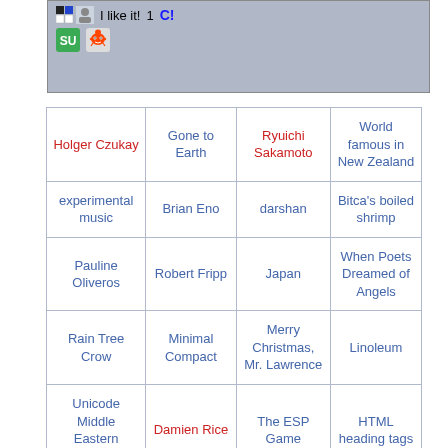[Figure (screenshot): Social sharing widget with icons (StumbleUpon, Reddit) and 'I like it! 1 C!' text on grey background]
| Col1 | Col2 | Col3 | Col4 |
| --- | --- | --- | --- |
| Holger Czukay | Gone to Earth | Ryuichi Sakamoto | World famous in New Zealand |
| experimental music | Brian Eno | darshan | Bitca's boiled shrimp |
| Pauline Oliveros | Robert Fripp | Japan | When Poets Dreamed of Angels |
| Rain Tree Crow | Minimal Compact | Merry Christmas, Mr. Lawrence | Linoleum |
| Unicode Middle Eastern Scripts | Damien Rice | The ESP Game | HTML heading tags |
|  | The | (Who's Afraid of) | Cries |